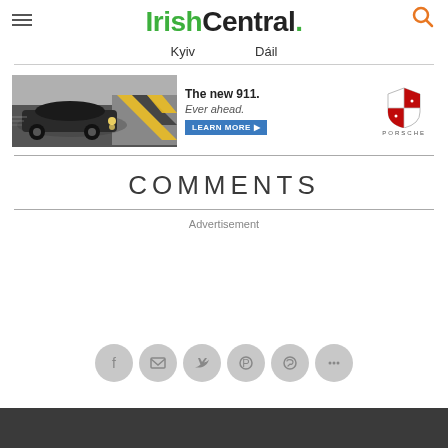[Figure (logo): IrishCentral logo with green 'Irish' and black 'Central.' text]
Kyiv    Dáil
[Figure (infographic): Porsche advertisement banner showing a Porsche 911 car on a racetrack with text 'The new 911. Ever ahead. LEARN MORE' and the Porsche shield logo]
COMMENTS
Advertisement
[Figure (infographic): Social share icons: Facebook, Email, Twitter, Pinterest, WhatsApp, More]